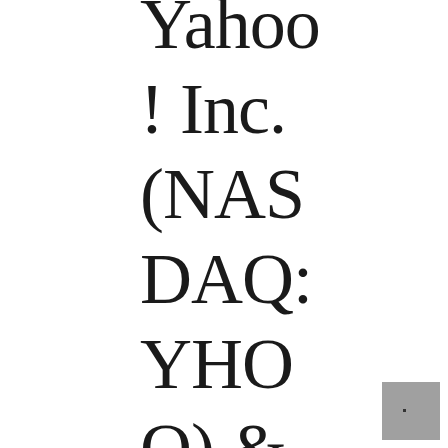Yahoo! Inc. (NASDAQ: YHOO) & Apple Inc. (NASDAQ: